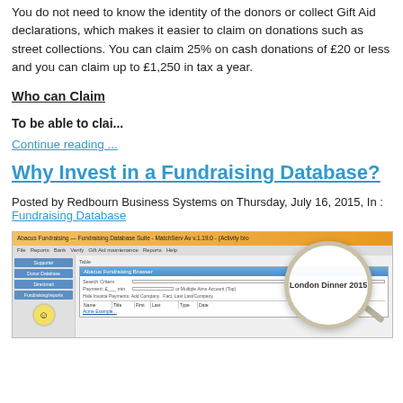You do not need to know the identity of the donors or collect Gift Aid declarations, which makes it easier to claim on donations such as street collections. You can claim 25% on cash donations of £20 or less and you can claim up to £1,250 in tax a year.
Who can Claim
To be able to clai...
Continue reading ...
Why Invest in a Fundraising Database?
Posted by Redbourn Business Systems on Thursday, July 16, 2015, In : Fundraising Database
[Figure (screenshot): Screenshot of a fundraising database application showing a search/event lookup dialog with 'London Dinner 2015' visible, overlaid with a magnifying glass graphic.]